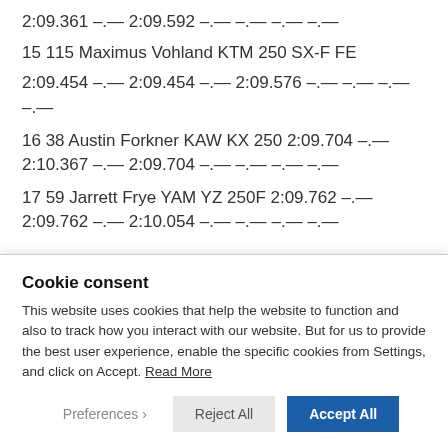2:09.361 –.— 2:09.592 –.— –.— –.— –.—
15 115 Maximus Vohland KTM 250 SX-F FE
2:09.454 –.— 2:09.454 –.— 2:09.576 –.— –.— –.— –.—
16 38 Austin Forkner KAW KX 250 2:09.704 –.— 2:10.367 –.— 2:09.704 –.— –.— –.— –.—
17 59 Jarrett Frye YAM YZ 250F 2:09.762 –.— 2:09.762 –.— 2:10.054 –.— –.— –.— –.—
Cookie consent
This website uses cookies that help the website to function and also to track how you interact with our website. But for us to provide the best user experience, enable the specific cookies from Settings, and click on Accept. Read More